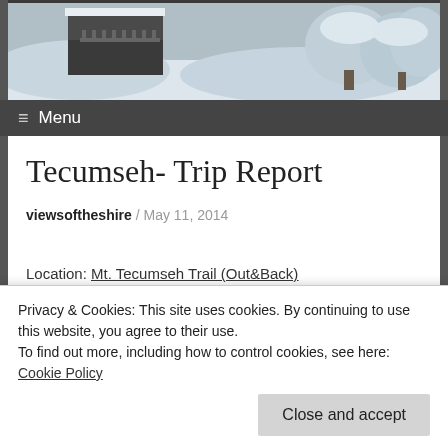[Figure (photo): Snowy winter scene with a wooden bridge or structure and snow-covered trees and ground]
≡ Menu
Tecumseh- Trip Report
viewsoftheshire / May 11, 2014
Location: Mt. Tecumseh Trail (Out&Back)
Date: 05/11/2014
Privacy & Cookies: This site uses cookies. By continuing to use this website, you agree to their use.
To find out more, including how to control cookies, see here: Cookie Policy
Close and accept
Condition: (partially visible, underlined link)